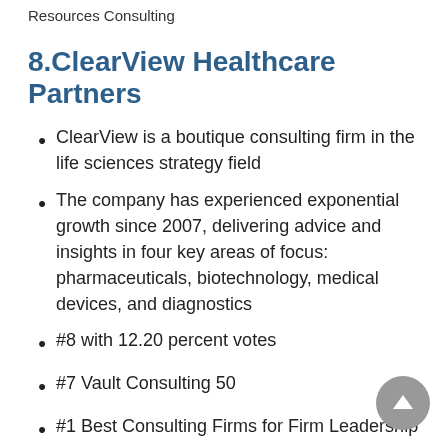Resources Consulting
8.ClearView Healthcare Partners
ClearView is a boutique consulting firm in the life sciences strategy field
The company has experienced exponential growth since 2007, delivering advice and insights in four key areas of focus: pharmaceuticals, biotechnology, medical devices, and diagnostics
#8 with 12.20 percent votes
#7 Vault Consulting 50
#1 Best Consulting Firms for Firm Leadership
#1 Best Consulting Firms for Innovation